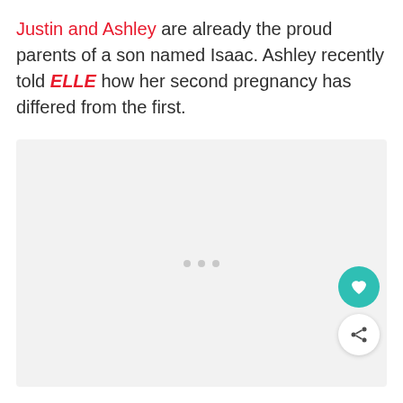Justin and Ashley are already the proud parents of a son named Isaac. Ashley recently told ELLE how her second pregnancy has differed from the first.
[Figure (other): Large light gray image placeholder box with three small gray dots centered in the lower-middle area, and two circular buttons (heart icon in teal, share icon) floating on the right side.]